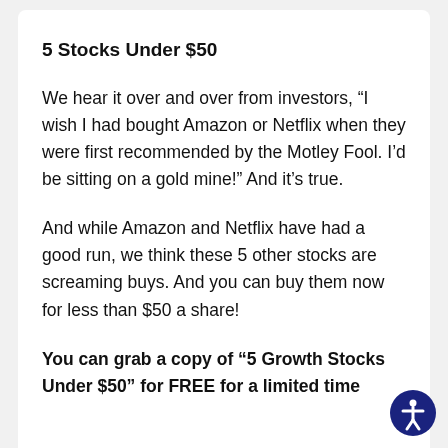5 Stocks Under $50
We hear it over and over from investors, “I wish I had bought Amazon or Netflix when they were first recommended by the Motley Fool. I’d be sitting on a gold mine!” And it’s true.
And while Amazon and Netflix have had a good run, we think these 5 other stocks are screaming buys. And you can buy them now for less than $50 a share!
You can grab a copy of “5 Growth Stocks Under $50” for FREE for a limited time